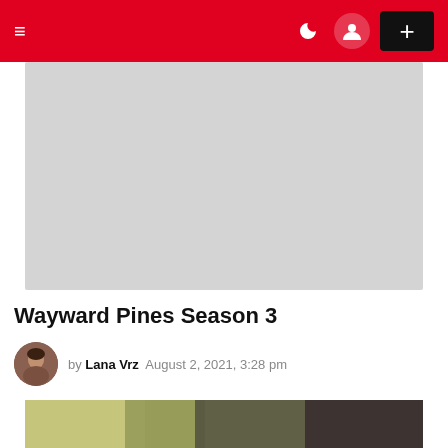Navigation bar with hamburger menu, dark mode toggle, user icon, and + button
[Figure (photo): Large light gray placeholder image area for article header]
Wayward Pines Season 3
by Lana Vrz  August 2, 2021, 3:28 pm
[Figure (photo): Partial bottom photo showing a scene with bookshelves and a person, cropped at page bottom]